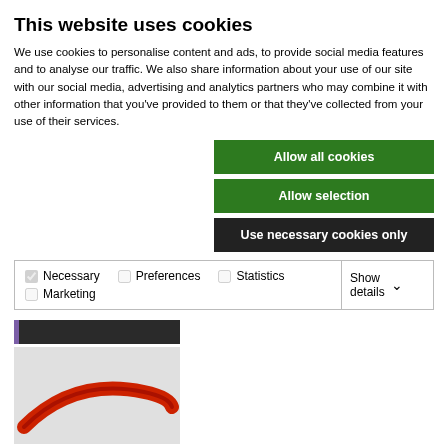This website uses cookies
We use cookies to personalise content and ads, to provide social media features and to analyse our traffic. We also share information about your use of our site with our social media, advertising and analytics partners who may combine it with other information that you've provided to them or that they've collected from your use of their services.
Allow all cookies
Allow selection
Use necessary cookies only
| ✓ Necessary | ☐ Preferences | ☐ Statistics | Show details ▾ |
| ☐ Marketing |  |  |  |
[Figure (photo): Dark background image with text 'synthetic material technology' and a purple vertical bar on the left side]
[Figure (photo): Light grey background with a red curved handle/tool photographed on it]